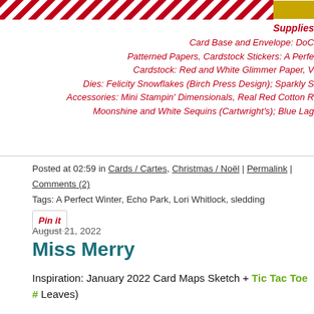[Figure (illustration): Top decorative banner with red and white diagonal candy-cane stripes and a gold badge element on the right side]
Supplies
Card Base and Envelope: DoC
Patterned Papers, Cardstock Stickers: A Perfe
Cardstock: Red and White Glimmer Paper, V
Dies: Felicity Snowflakes (Birch Press Design); Sparkly S
Accessories: Mini Stampin' Dimensionals, Real Red Cotton R
Moonshine and White Sequins (Cartwright's); Blue Lag
Posted at 02:59 in Cards / Cartes, Christmas / Noël | Permalink | Comments (2)
Tags: A Perfect Winter, Echo Park, Lori Whitlock, sledding
[Figure (illustration): Pin it button — red italic text with border]
August 21, 2022
Miss Merry
Inspiration: January 2022 Card Maps Sketch + Tic Tac Toe # Leaves)
I've been wanting to get a Janet Klein stamp set (Aall & Crea time narrowing my choice to one set. I finally picked Miss Me something very classic when I picked a paper collection to go Christmas from Carta Bella (2021).